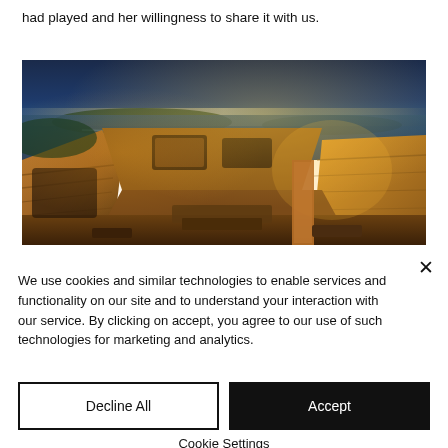had played and her willingness to share it with us.
[Figure (photo): Archaeological site photo showing the interior of an ancient stone structure (Skara Brae or similar Neolithic site) illuminated with golden lighting, with a blue twilight sky and water visible in the background.]
We use cookies and similar technologies to enable services and functionality on our site and to understand your interaction with our service. By clicking on accept, you agree to our use of such technologies for marketing and analytics.
Decline All
Accept
Cookie Settings